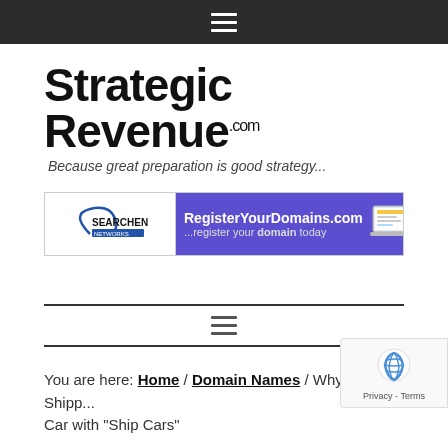Navigation bar with hamburger menu icon
[Figure (logo): Strategic Revenue .com logo with tagline 'Because great preparation is good strategy...']
[Figure (screenshot): Advertisement banner for RegisterYourDomains.com by Searchen Networks - 'register your domain today' with Get Started button]
You are here: Home / Domain Names / Why I Shipp... Car with "Ship Cars"